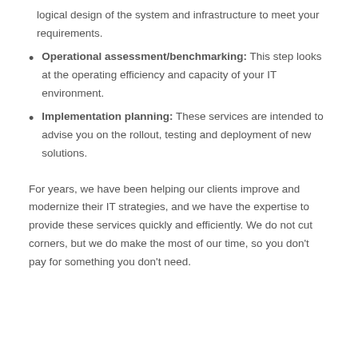logical design of the system and infrastructure to meet your requirements.
Operational assessment/benchmarking: This step looks at the operating efficiency and capacity of your IT environment.
Implementation planning: These services are intended to advise you on the rollout, testing and deployment of new solutions.
For years, we have been helping our clients improve and modernize their IT strategies, and we have the expertise to provide these services quickly and efficiently. We do not cut corners, but we do make the most of our time, so you don't pay for something you don't need.